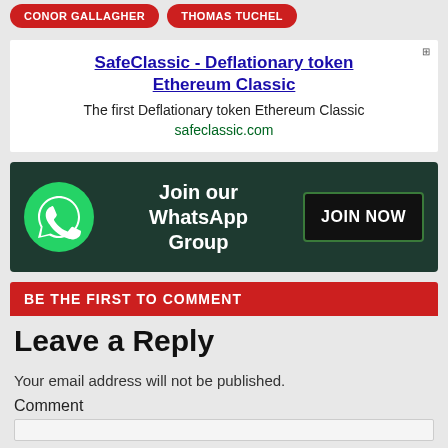CONOR GALLAGHER
THOMAS TUCHEL
[Figure (infographic): Advertisement for SafeClassic - Deflationary token Ethereum Classic. Title link: 'SafeClassic - Deflationary token Ethereum Classic'. Description: 'The first Deflationary token Ethereum Classic'. URL: safeclassic.com]
[Figure (infographic): WhatsApp group join banner with dark green background, WhatsApp logo, text 'Join our WhatsApp Group', and a 'JOIN NOW' button.]
BE THE FIRST TO COMMENT
Leave a Reply
Your email address will not be published.
Comment